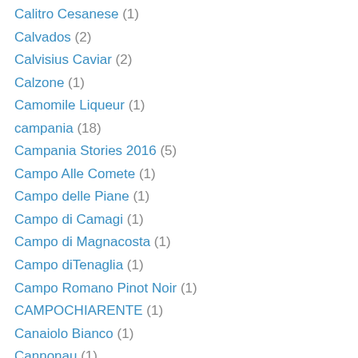Calitro Cesanese (1)
Calvados (2)
Calvisius Caviar (2)
Calzone (1)
Camomile Liqueur (1)
campania (18)
Campania Stories 2016 (5)
Campo Alle Comete (1)
Campo delle Piane (1)
Campo di Camagi (1)
Campo di Magnacosta (1)
Campo diTenaglia (1)
Campo Romano Pinot Noir (1)
CAMPOCHIARENTE (1)
Canaiolo Bianco (1)
Cannonau (1)
Cannubi (1)
Cannubi Boschis (1)
Cannubi Muscatel (1)
Cannubi vineyard (1)